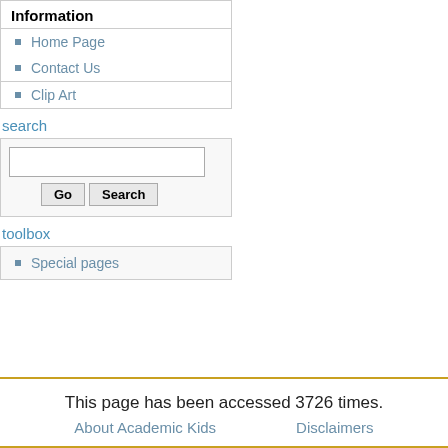Information
Home Page
Contact Us
Clip Art
search
toolbox
Special pages
This page has been accessed 3726 times.
About Academic Kids    Disclaimers